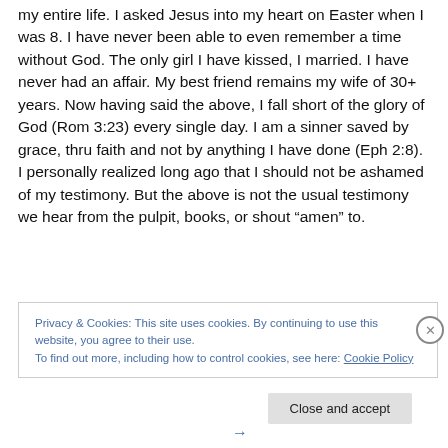my entire life. I asked Jesus into my heart on Easter when I was 8. I have never been able to even remember a time without God. The only girl I have kissed, I married. I have never had an affair. My best friend remains my wife of 30+ years. Now having said the above, I fall short of the glory of God (Rom 3:23) every single day. I am a sinner saved by grace, thru faith and not by anything I have done (Eph 2:8). I personally realized long ago that I should not be ashamed of my testimony. But the above is not the usual testimony we hear from the pulpit, books, or shout “amen” to.
Privacy & Cookies: This site uses cookies. By continuing to use this website, you agree to their use.
To find out more, including how to control cookies, see here: Cookie Policy